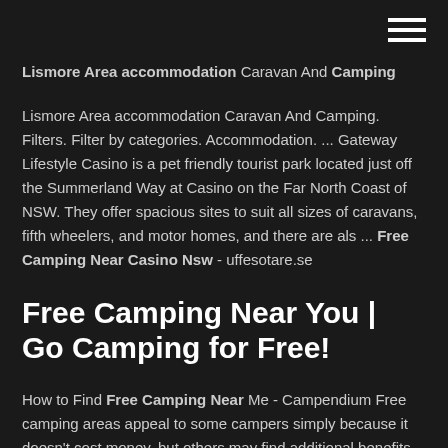Lismore Area accommodation Caravan And Camping
Lismore Area accommodation Caravan And Camping. Filters. Filter by categories. Accommodation. ... Gateway Lifestyle Casino is a pet friendly tourist park located just off the Summerland Way at Casino on the Far North Coast of NSW. They offer spacious sites to suit all sizes of caravans, fifth wheelers, and motor homes, and there are als ... Free Camping Near Casino Nsw - uffesotare.se
Free Camping Near You | Go Camping for Free!
How to Find Free Camping Near Me - Campendium Free camping areas appeal to some campers simply because it doesn't cost money, but others may find additional benefits